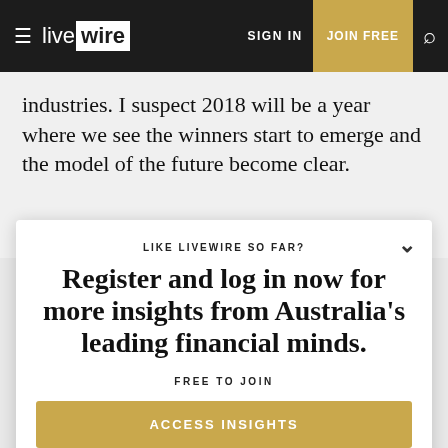livewire | SIGN IN | JOIN FREE
industries. I suspect 2018 will be a year where we see the winners start to emerge and the model of the future become clear.
New educational requirements for financial advisers
LIKE LIVEWIRE SO FAR?
Register and log in now for more insights from Australia's leading financial minds.
FREE TO JOIN
ACCESS INSIGHTS